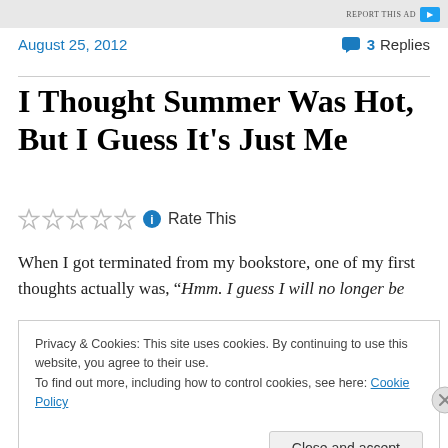REPORT THIS AD
August 25, 2012   3 Replies
I Thought Summer Was Hot, But I Guess It's Just Me
Rate This
When I got terminated from my bookstore, one of my first thoughts actually was, “Hmm. I guess I will no longer be
Privacy & Cookies: This site uses cookies. By continuing to use this website, you agree to their use.
To find out more, including how to control cookies, see here: Cookie Policy
Close and accept